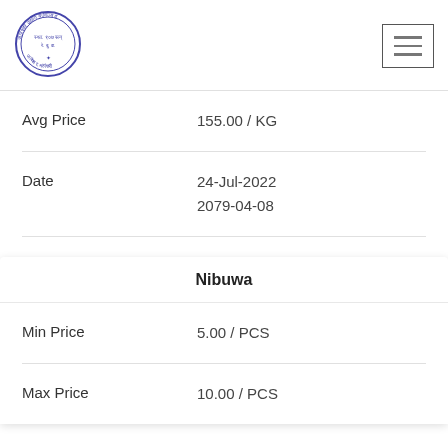[Figure (logo): Circular official stamp/seal with Devanagari script text, purple/blue ink, circular border]
Avg Price    155.00 / KG
Date    24-Jul-2022  2079-04-08
Nibuwa
Min Price    5.00 / PCS
Max Price    10.00 / PCS